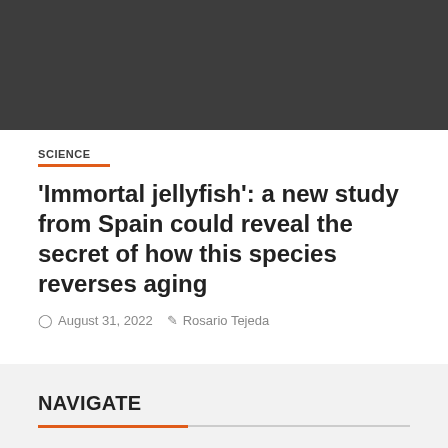[Figure (photo): Dark gray/charcoal colored image area at the top of the page (content not visible)]
SCIENCE
'Immortal jellyfish': a new study from Spain could reveal the secret of how this species reverses aging
August 31, 2022   Rosario Tejeda
NAVIGATE
Home
Top News
World